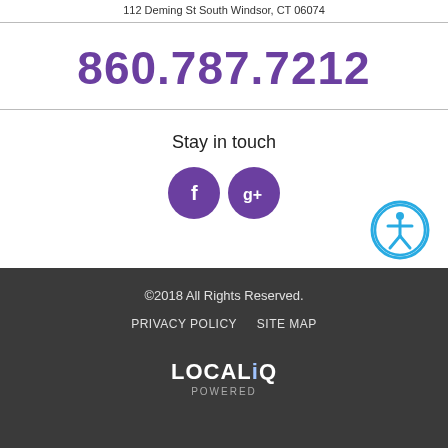112 Deming St South Windsor, CT 06074
860.787.7212
Stay in touch
[Figure (illustration): Two purple circular social media icons: Facebook (f) and Google+ (g+)]
[Figure (illustration): Blue circular accessibility icon with person figure]
©2018 All Rights Reserved. PRIVACY POLICY SITE MAP LOCALiQ POWERED